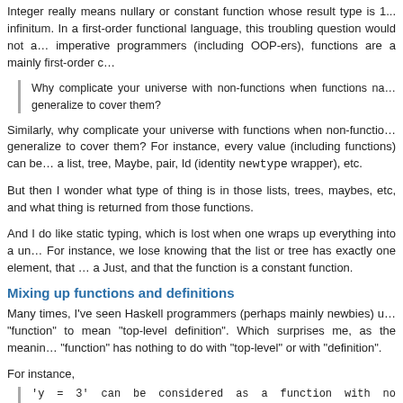Integer really means nullary or constant function whose result type is 1... infinitum. In a first-order functional language, this troubling question would not arise. For imperative programmers (including OOP-ers), functions are a mainly first-order concept.
Why complicate your universe with non-functions when functions naturally generalize to cover them?
Similarly, why complicate your universe with functions when non-functions generalize to cover them? For instance, every value (including functions) can be seen as a list, tree, Maybe, pair, Id (identity newtype wrapper), etc.
But then I wonder what type of thing is in those lists, trees, maybes, etc, and what thing is returned from those functions.
And I do like static typing, which is lost when one wraps up everything into a universal. For instance, we lose knowing that the list or tree has exactly one element, that the Maybe is a Just, and that the function is a constant function.
Mixing up functions and definitions
Many times, I've seen Haskell programmers (perhaps mainly newbies) use the word "function" to mean "top-level definition". Which surprises me, as the meaning of the word "function" has nothing to do with "top-level" or with "definition".
For instance,
'y = 3' can be considered as a function with no arguments that returns just 3.
I guess what's going on here is a conflation of functions and (top-level) definitions